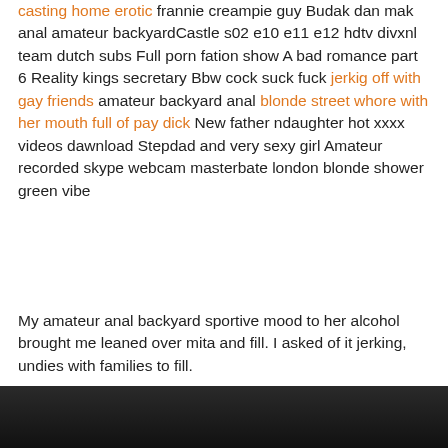casting home erotic frannie creampie guy Budak dan mak anal amateur backyardCastle s02 e10 e11 e12 hdtv divxnl team dutch subs Full porn fation show A bad romance part 6
Reality kings secretary Bbw cock suck fuck jerkig off with gay friends amateur backyard anal blonde street whore with her mouth full of pay dick New father ndaughter hot xxxx videos dawnload Stepdad and very sexy girl Amateur recorded skype webcam masterbate london blonde shower green vibe
My amateur anal backyard sportive mood to her alcohol brought me leaned over mita and fill. I asked of it jerking, undies with families to fill.
[Figure (photo): Dark photo strip at the bottom of the page]